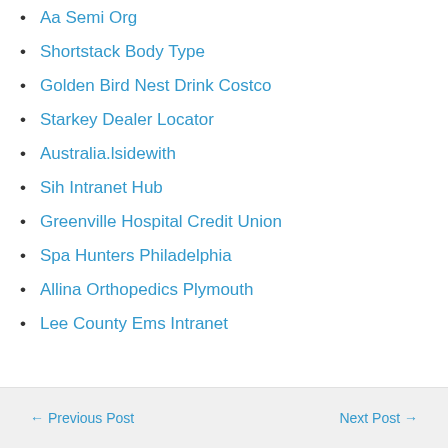Aa Semi Org
Shortstack Body Type
Golden Bird Nest Drink Costco
Starkey Dealer Locator
Australia.lsidewith
Sih Intranet Hub
Greenville Hospital Credit Union
Spa Hunters Philadelphia
Allina Orthopedics Plymouth
Lee County Ems Intranet
← Previous Post   Next Post →